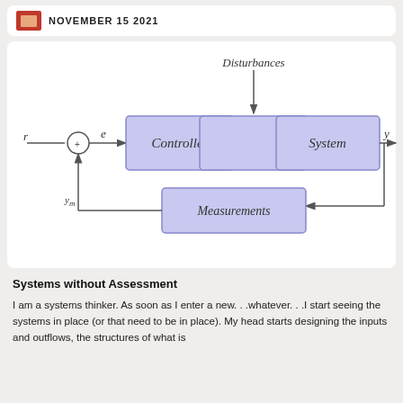NOVEMBER 15 2021
[Figure (flowchart): Closed-loop control system block diagram showing: input r, summing junction, error e, Controller block, control signal u, System block with Disturbances input from above, output y, feedback path through Measurements block back to summing junction labeled y_m]
Systems without Assessment
I am a systems thinker. As soon as I enter a new. . .whatever. . .I start seeing the systems in place (or that need to be in place). My head starts designing the inputs and outflows, the structures of what is